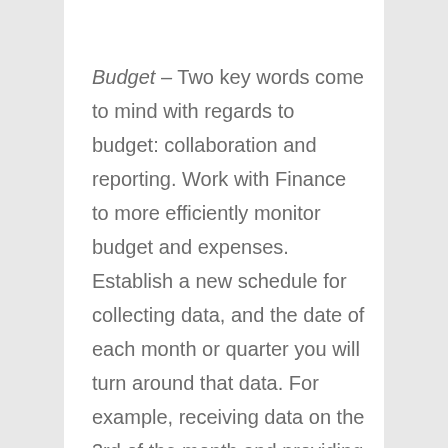Budget – Two key words come to mind with regards to budget: collaboration and reporting. Work with Finance to more efficiently monitor budget and expenses. Establish a new schedule for collecting data, and the date of each month or quarter you will turn around that data. For example, receiving data on the 3rd of the month and providing a report to management on the 10th of each month.